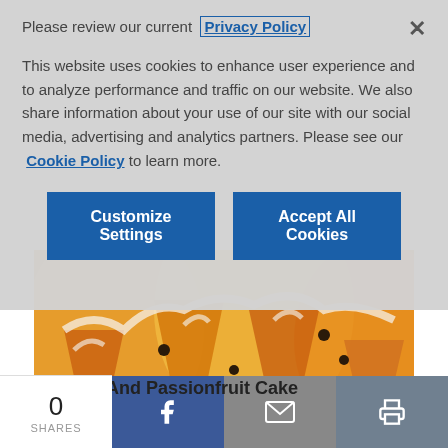Please review our current Privacy Policy
This website uses cookies to enhance user experience and to analyze performance and traffic on our website. We also share information about your use of our site with our social media, advertising and analytics partners. Please see our Cookie Policy to learn more.
[Figure (screenshot): Two buttons: 'Customize Settings' and 'Accept All Cookies' in dark blue]
[Figure (photo): Photo of a glazed bundt cake — Yoghurt And Passionfruit Cake]
Yoghurt And Passionfruit Cake
0
SHARES
[Figure (infographic): Social share bar with Facebook, email, and print icons]